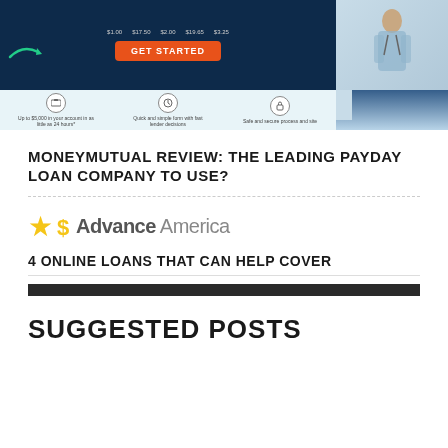[Figure (screenshot): MoneyMutual website banner with GET STARTED orange button, trust logos (OLA, CFEF), and feature icons for fast funding, quick form, and secure process]
MONEYMUTUAL REVIEW: THE LEADING PAYDAY LOAN COMPANY TO USE?
[Figure (logo): Advance America logo with yellow star and grey text]
4 ONLINE LOANS THAT CAN HELP COVER
SUGGESTED POSTS